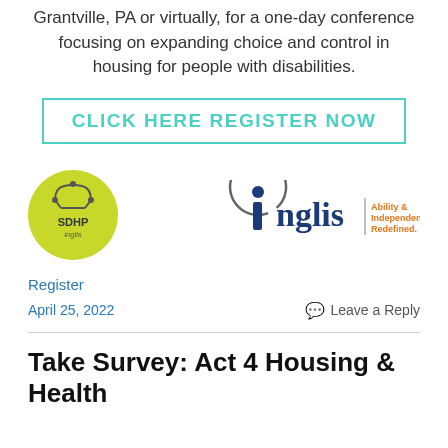Grantville, PA or virtually, for a one-day conference focusing on expanding choice and control in housing for people with disabilities.
CLICK HERE REGISTER NOW
[Figure (logo): SDHP Inglis circular green logo on left; Inglis 'Ability & Independence. Redefined.' logo on right]
Register
April 25, 2022
Leave a Reply
Take Survey: Act 4 Housing & Health